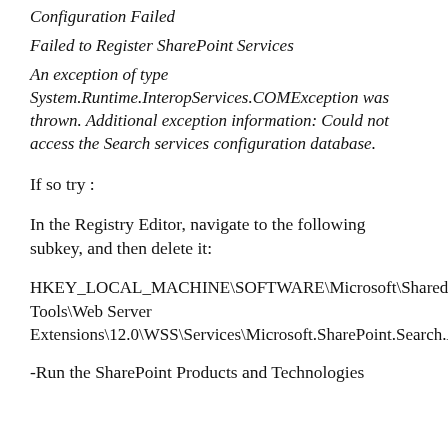Configuration Failed
Failed to Register SharePoint Services
An exception of type System.Runtime.InteropServices.COMException was thrown. Additional exception information: Could not access the Search services configuration database.
If so try :
In the Registry Editor, navigate to the following subkey, and then delete it:
HKEY_LOCAL_MACHINE\SOFTWARE\Microsoft\Shared Tools\Web Server Extensions\12.0\WSS\Services\Microsoft.SharePoint.Search.Administration.SPSearchService
-Run the SharePoint Products and Technologies